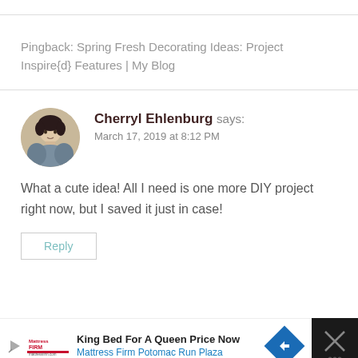Pingback: Spring Fresh Decorating Ideas: Project Inspire{d} Features | My Blog
Cherryl Ehlenburg says:
March 17, 2019 at 8:12 PM
[Figure (photo): Circular avatar photo of a woman with dark hair wearing a gray jacket]
What a cute idea! All I need is one more DIY project right now, but I saved it just in case!
Reply
[Figure (screenshot): Advertisement banner: King Bed For A Queen Price Now - Mattress Firm Potomac Run Plaza]